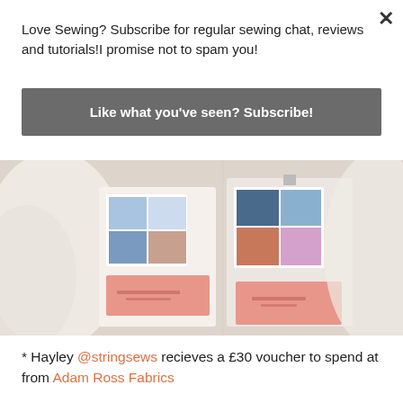Love Sewing? Subscribe for regular sewing chat, reviews and tutorials!I promise not to spam you!
Like what you've seen? Subscribe!
[Figure (photo): Photo showing fabric swatches and small cards laid out on white fabric, two small booklets/cards with colorful fabric print swatches and pink/salmon colored voucher cards below them]
* Hayley @stringsews recieves a £30 voucher to spend at from Adam Ross Fabrics...